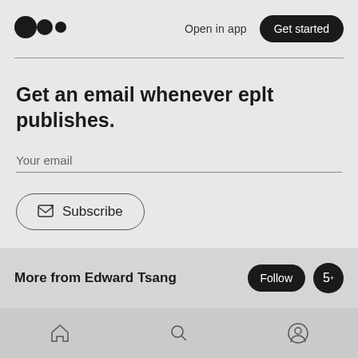[Figure (logo): Medium logo — three circles/dots in a row]
Open in app
Get started
Get an email whenever eplt publishes.
Your email
Subscribe
By signing up, you will create a Medium account if you don't already have one. Review our Privacy Policy for more information about our privacy practices.
More from Edward Tsang
Follow